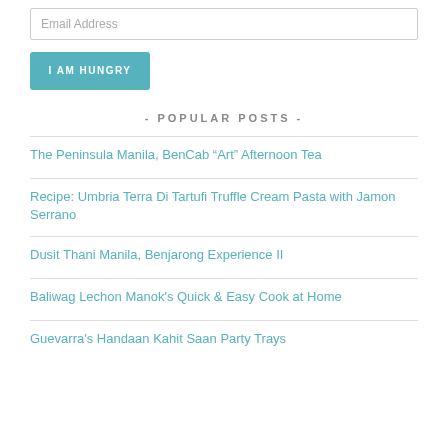Email Address
I AM HUNGRY
- POPULAR POSTS -
The Peninsula Manila, BenCab “Art” Afternoon Tea
Recipe: Umbria Terra Di Tartufi Truffle Cream Pasta with Jamon Serrano
Dusit Thani Manila, Benjarong Experience II
Baliwag Lechon Manok's Quick & Easy Cook at Home
Guevarra's Handaan Kahit Saan Party Trays